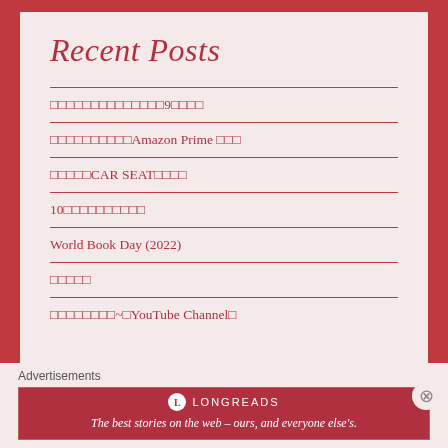Recent Posts
□□□□□□□□□□□□□□9□□□□
□□□□□□□□□□Amazon Prime □□□
□□□□□CAR SEAT□□□□
10□□□□□□□□□□
World Book Day (2022)
□□□□□
□□□□□□□□~□YouTube Channel□
Advertisements
[Figure (other): Longreads advertisement banner: logo and tagline 'The best stories on the web – ours, and everyone else's.']